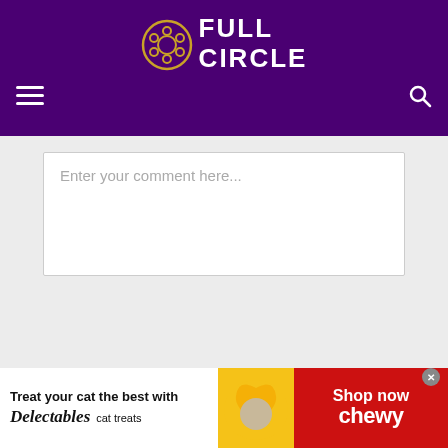[Figure (logo): Full Circle logo with film reel icon on purple background header]
[Figure (screenshot): Navigation bar with hamburger menu and search icon on purple background]
Enter your comment here...
[Figure (photo): Chewy advertisement banner: Treat your cat the best with Delectables cat treats. Shop now. Chewy.]